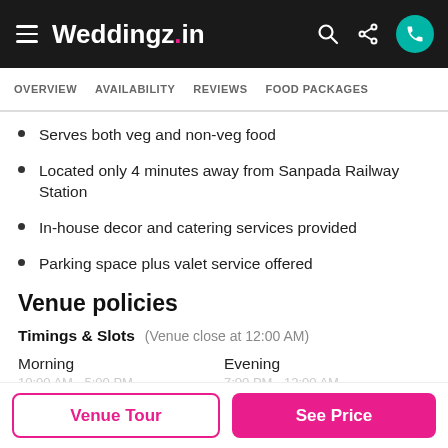Weddingz.in
OVERVIEW   AVAILABILITY   REVIEWS   FOOD PACKAGES
Serves both veg and non-veg food
Located only 4 minutes away from Sanpada Railway Station
In-house decor and catering services provided
Parking space plus valet service offered
Venue policies
Timings & Slots   (Venue close at 12:00 AM)
Morning   Evening
Venue Tour   See Price